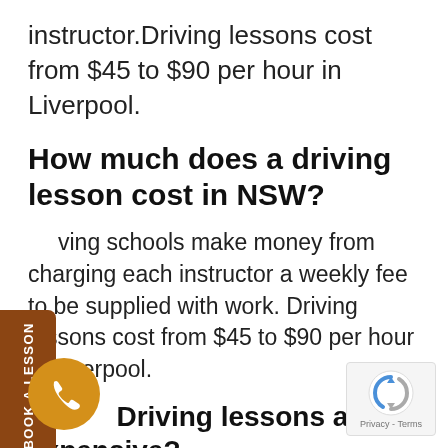instructor.Driving lessons cost from $45 to $90 per hour in Liverpool.
How much does a driving lesson cost in NSW?
Driving schools make money from charging each instructor a weekly fee to be supplied with work. Driving lessons cost from $45 to $90 per hour in Liverpool.
Why Driving lessons are so expensive?
[Figure (other): Brown vertical 'BOOK A LESSON' sidebar tab on left edge]
[Figure (other): Orange circular phone/call button at bottom left]
[Figure (other): reCAPTCHA Privacy Terms badge at bottom right]